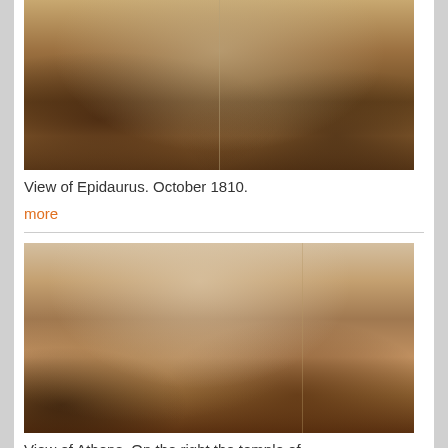[Figure (illustration): Sepia-toned panoramic landscape painting of Epidaurus, October 1810. Two panels joined in the middle showing expansive hilly terrain with trees and distant mountains under a cloudy sky.]
View of Epidaurus. October 1810.
more
[Figure (illustration): Sepia-toned landscape painting showing a view of Athens with mountains in the background. On the right side the temple of Olympian Zeus is partially visible. The scene shows a wide valley with sparse trees and dark rocky foreground.]
View of Athens. On the right the temple of Olympian Zeus.